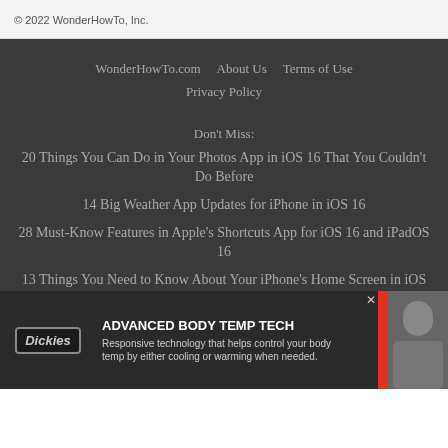© 2022 WonderHowTo, Inc.
WonderHowTo.com    About Us    Terms of Use
Privacy Policy
Don't Miss:
20 Things You Can Do in Your Photos App in iOS 16 That You Couldn't Do Before
14 Big Weather App Updates for iPhone in iOS 16
28 Must-Know Features in Apple's Shortcuts App for iOS 16 and iPadOS 16
13 Things You Need to Know About Your iPhone's Home Screen in iOS 16
22 Exciting Changes Apple Has for Your Messages App in iOS 16 and iPadOS 16
[Figure (infographic): Dickies advertisement banner: ADVANCED BODY TEMP TECH - Responsive technology that helps control your body temp by either cooling or warming when needed. SHOP NOW button on right.]